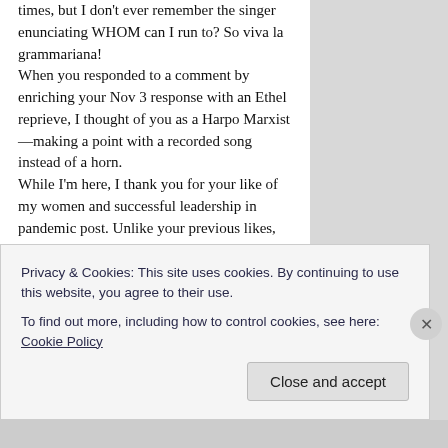times, but I don't ever remember the singer enunciating WHOM can I run to? So viva la grammariana!
When you responded to a comment by enriching your Nov 3 response with an Ethel reprieve, I thought of you as a Harpo Marxist—making a point with a recorded song instead of a horn.
While I'm here, I thank you for your like of my women and successful leadership in pandemic post. Unlike your previous likes, that like did go through. I'm assuming you didn't comment, but since I just read an entire post of people complaining that WP was swallowing their comments, I wanted to make sure.
I did respond to one of my respondents on that post with a triple pun, which I feel obliged to report to you due to our shared pun-y weakness.
Privacy & Cookies: This site uses cookies. By continuing to use this website, you agree to their use.
To find out more, including how to control cookies, see here: Cookie Policy
Close and accept